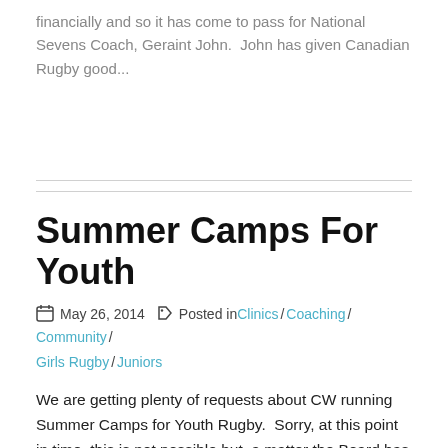financially and so it has come to pass for National Sevens Coach, Geraint John.  John has given Canadian Rugby good...
Summer Camps For Youth
May 26, 2014   Posted in Clinics / Coaching / Community / Girls Rugby / Juniors
We are getting plenty of requests about CW running Summer Camps for Youth Rugby.  Sorry, at this point in time, this is not possible but  a matter the Board has discussed and agree the importance of